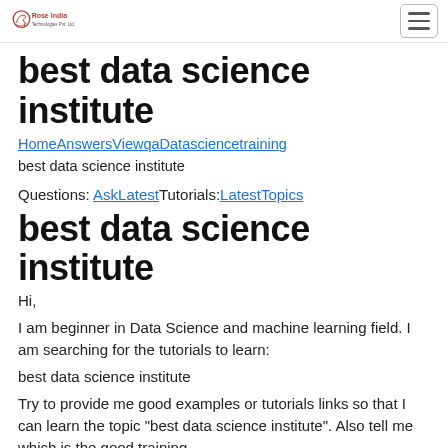Rose India [logo] [hamburger menu]
best data science institute
HomeAnswersViewqaDatasciencetraining best data science institute
Questions: AskLatestTutorials:LatestTopics
best data science institute
Hi,
I am beginner in Data Science and machine learning field. I am searching for the tutorials to learn:
best data science institute
Try to provide me good examples or tutorials links so that I can learn the topic "best data science institute". Also tell me which is the good training